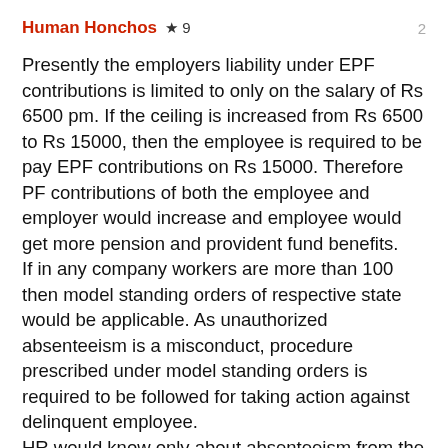Human Honchos ★ 9    2
Presently the employers liability under EPF contributions is limited to only on the salary of Rs 6500 pm. If the ceiling is increased from Rs 6500 to Rs 15000, then the employee is required to be pay EPF contributions on Rs 15000. Therefore PF contributions of both the employee and employer would increase and employee would get more pension and provident fund benefits.
If in any company workers are more than 100 then model standing orders of respective state would be applicable. As unauthorized absenteeism is a misconduct, procedure prescribed under model standing orders is required to be followed for taking action against delinquent employee.
HR would know only about absenteeism from the attendance register or punching system or